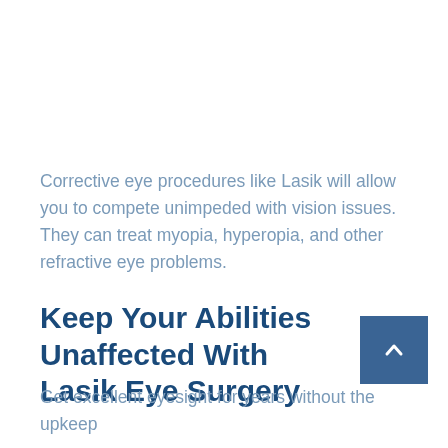Corrective eye procedures like Lasik will allow you to compete unimpeded with vision issues. They can treat myopia, hyperopia, and other refractive eye problems.
Keep Your Abilities Unaffected With Lasik Eye Surgery
Get excellent eyesight for years without the upkeep